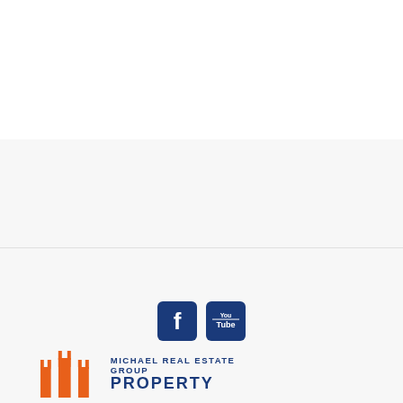[Figure (logo): Facebook and YouTube social media icons (dark blue rounded square icons) centered on the page]
[Figure (logo): Michael Real Estate Group Property logo with orange castle/building icon and dark blue text reading MICHAEL REAL ESTATE GROUP PROPERTY]